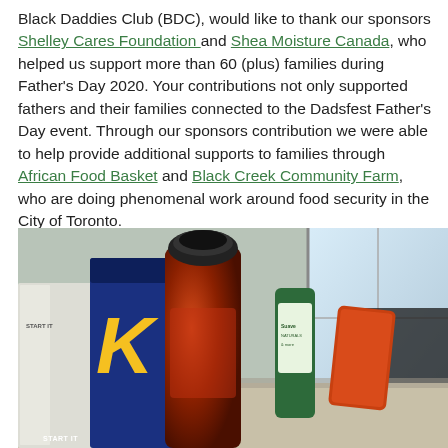Black Daddies Club (BDC), would like to thank our sponsors Shelley Cares Foundation and Shea Moisture Canada, who helped us support more than 60 (plus) families during Father's Day 2020. Your contributions not only supported fathers and their families connected to the Dadsfest Father's Day event. Through our sponsors contribution we were able to help provide additional supports to families through African Food Basket and Black Creek Community Farm, who are doing phenomenal work around food security in the City of Toronto.
[Figure (photo): Photo of various household and food products arranged on a surface, including a dark bottle with a black cap in the foreground, a blue cereal box with a large 'K', snack packages, and a green product bottle, with a window visible in the background.]